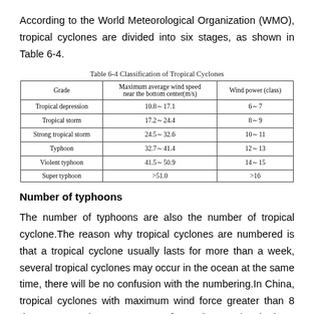According to the World Meteorological Organization (WMO), tropical cyclones are divided into six stages, as shown in Table 6-4.
Table 6-4 Classification of Tropical Cyclones
| Grade | Maximum average wind speed near the bottom center(m/s) | Wind power (class) |
| --- | --- | --- |
| Tropical depression | 10.8～17.1 | 6～7 |
| Tropical storm | 17.2～24.4 | 8～9 |
| Strong tropical storm | 24.5～32.6 | 10～11 |
| Typhoon | 32.7～41.4 | 12～13 |
| Violent typhoon | 41.5～50.9 | 14～15 |
| Super typhoon | >51.0 | >16 |
Number of typhoons
The number of typhoons are also the number of tropical cyclone.The reason why tropical cyclones are numbered is that a tropical cyclone usually lasts for more than a week, several tropical cyclones may occur in the ocean at the same time, there will be no confusion with the numbering.In China, tropical cyclones with maximum wind force greater than 8 degrees near the center, west of 150 degrees longitude to the east, north of 10 degrees latitude to the north, which are numbered in the order of annual occurrence.China's typhoon number is according to the requirements of the World Meteorological